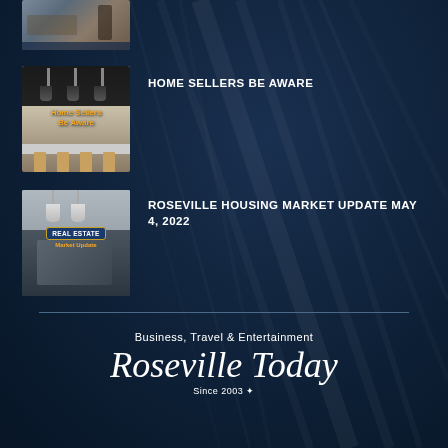[Figure (photo): Partially visible thumbnail image of a kitchen interior with television at top of page]
[Figure (photo): Thumbnail image of kitchen with barstools and text overlay 'Home Sellers Be Aware' in orange]
HOME SELLERS BE AWARE
[Figure (photo): Thumbnail image with 'REAL ESTATE Market Update' badge overlay showing kitchen interior]
ROSEVILLE HOUSING MARKET UPDATE MAY 4, 2022
Business, Travel & Entertainment
Roseville Today
Since 2003